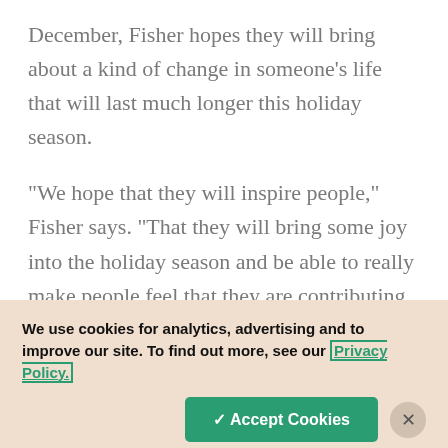December, Fisher hopes they will bring about a kind of change in someone's life that will last much longer this holiday season.
"We hope that they will inspire people," Fisher says. "That they will bring some joy into the holiday season and be able to really make people feel that they are contributing to something important, something special, and that they are doing something to change the world. To change somebody's life even if it's
We use cookies for analytics, advertising and to improve our site. To find out more, see our Privacy Policy.
✓ Accept Cookies